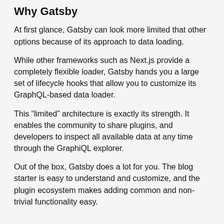Why Gatsby
At first glance, Gatsby can look more limited that other options because of its approach to data loading.
While other frameworks such as Next.js provide a completely flexible loader, Gatsby hands you a large set of lifecycle hooks that allow you to customize its GraphQL-based data loader.
This “limited” architecture is exactly its strength. It enables the community to share plugins, and developers to inspect all available data at any time through the GraphiQL explorer.
Out of the box, Gatsby does a lot for you. The blog starter is easy to understand and customize, and the plugin ecosystem makes adding common and non-trivial functionality easy.